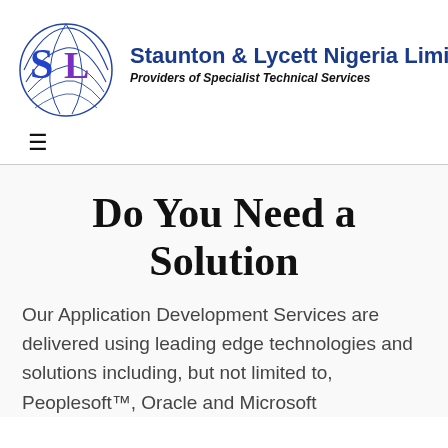[Figure (logo): Staunton & Lycett Nigeria Limited logo: circular globe graphic with blue lines and SL letters in blue and purple, alongside company name and tagline]
Do You Need a Solution
Our Application Development Services are delivered using leading edge technologies and solutions including, but not limited to, Peoplesoft™, Oracle and Microsoft